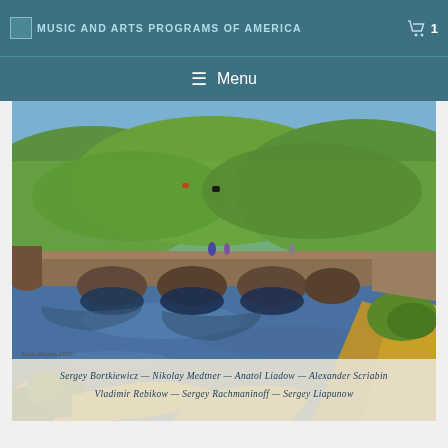MUSIC AND ARTS PROGRAMS OF AMERICA
≡ Menu
[Figure (photo): A landscape painting of a rural bridge over a river with green hills and figures, with text overlay listing composers: Sergey Bortkiewicz, Nikolay Medtner, Anatol Liadow, Alexander Scriabin, Vladimir Rebikow, Sergey Rachmaninoff, Sergey Liapunow]
Sergey Bortkiewicz — Nikolay Medtner — Anatol Liadow — Alexander Scriabin — Vladimir Rebikow — Sergey Rachmaninoff — Sergey Liapunow